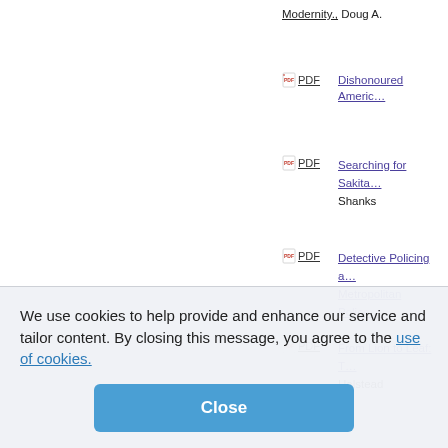Modernity., Doug A.
PDF Dishonoured Americ…
PDF Searching for Sakita… Shanks
PDF Detective Policing a… Metropolitan Police,…
PDF From Lion to Leaf: T… Halstead
PDF Cityscape, Urban Ne…
PDF More Than Plumbing… Grondin
PDF Grasping for the En…
PDF *Contemporary Rea… in North America fro…
We use cookies to help provide and enhance our service and tailor content. By closing this message, you agree to the use of cookies.
Close